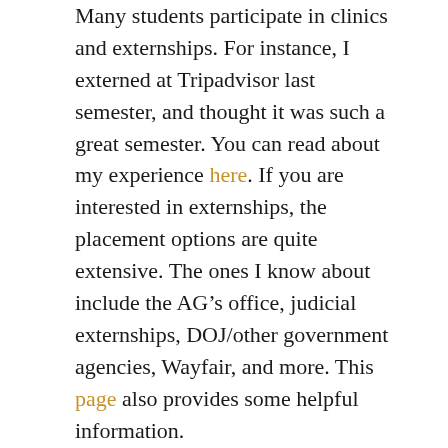Many students participate in clinics and externships. For instance, I externed at Tripadvisor last semester, and thought it was such a great semester. You can read about my experience here. If you are interested in externships, the placement options are quite extensive. The ones I know about include the AG's office, judicial externships, DOJ/other government agencies, Wayfair, and more. This page also provides some helpful information.
Although I have not participated in a clinic, many of my friends who have all have found clinics extremely valuable to their law school experience. For instance, my roommate participated in the Juvenile Advocacy Clinic as a 2L and the Defender's Clinic as a 3L. She appreciated the clinic experience because it exposed her to court proceedings and client representation early on